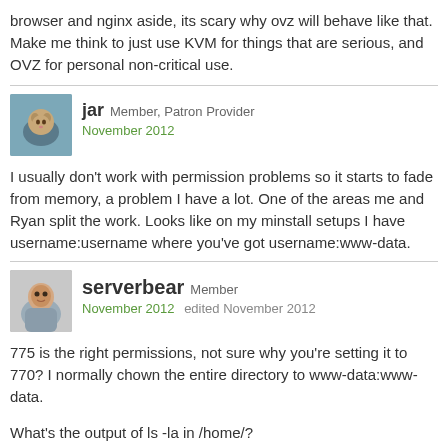browser and nginx aside, its scary why ovz will behave like that. Make me think to just use KVM for things that are serious, and OVZ for personal non-critical use.
jar Member, Patron Provider
November 2012
I usually don't work with permission problems so it starts to fade from memory, a problem I have a lot. One of the areas me and Ryan split the work. Looks like on my minstall setups I have username:username where you've got username:www-data.
serverbear Member
November 2012   edited November 2012
775 is the right permissions, not sure why you're setting it to 770? I normally chown the entire directory to www-data:www-data.

What's the output of ls -la in /home/?
jcaleb Member
November 2012
i will check, thanks for help. but nginx and web hosting aside, it's just crazy